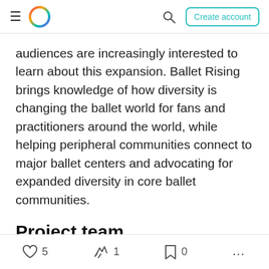Navigation bar with hamburger menu, logo, search, and Create account button
audiences are increasingly interested to learn about this expansion. Ballet Rising brings knowledge of how diversity is changing the ballet world for fans and practitioners around the world, while helping peripheral communities connect to major ballet centers and advocating for expanded diversity in core ballet communities.
Project team
Ballet Rising was founded by Casey Herd in 2019 after a long and successful career as one of the world's leading male dancers. He was joined by
5  |  1  |  0  |  ...